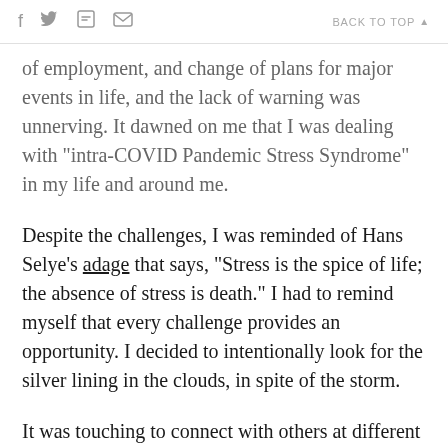f  [twitter]  [print]  [email]    BACK TO TOP ▲
of employment, and change of plans for major events in life, and the lack of warning was unnerving. It dawned on me that I was dealing with "intra-COVID Pandemic Stress Syndrome" in my life and around me.
Despite the challenges, I was reminded of Hans Selye's adage that says, "Stress is the spice of life; the absence of stress is death." I had to remind myself that every challenge provides an opportunity. I decided to intentionally look for the silver lining in the clouds, in spite of the storm.
It was touching to connect with others at different levels and just know that I am not going crazy, or to